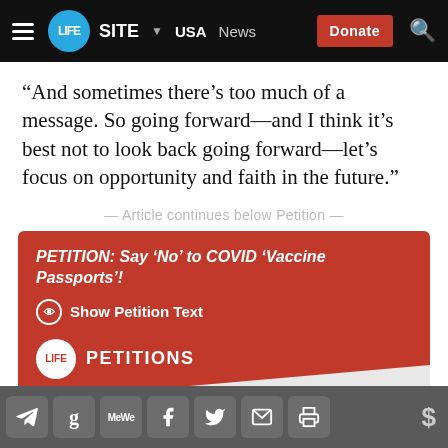LIFESITE | USA | News | Donate
“And sometimes there’s too much of a message. So going forward—and I think it’s best not to look back going forward—let’s focus on opportunity and faith in the future.”
— Article continues below Petition —
PETITION: Say ‘No’ to COVID ‘Vaccine Passports’!
Show Petition Text
LIFE PETITIONS
217300 have signed the petition.
Share icons: Telegram, Goodreads, MeWe, Facebook, Twitter, Email, Print | Donate